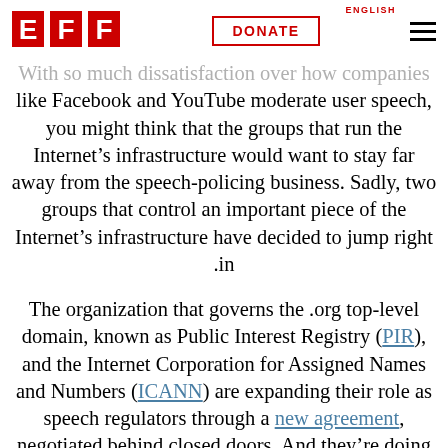EFF | DONATE | ENGLISH
With so much dissatisfaction over how companies like Facebook and YouTube moderate user speech, you might think that the groups that run the Internet’s infrastructure would want to stay far away from the speech-policing business. Sadly, two groups that control an important piece of the Internet’s infrastructure have decided to jump right in.
The organization that governs the .org top-level domain, known as Public Interest Registry (PIR), and the Internet Corporation for Assigned Names and Numbers (ICANN) are expanding their role as speech regulators through a new agreement, negotiated behind closed doors. And they’re doing it despite the nearly unanimous opposition of